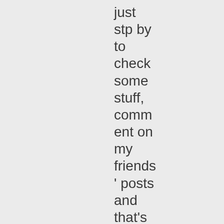just stp by to check some stuff, comment on my friends ' posts and that's it. I can't. It's too